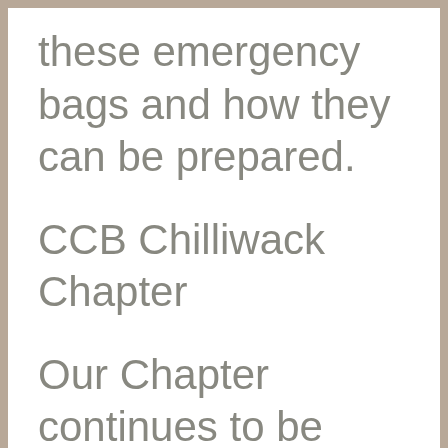these emergency bags and how they can be prepared.
CCB Chilliwack Chapter
Our Chapter continues to be